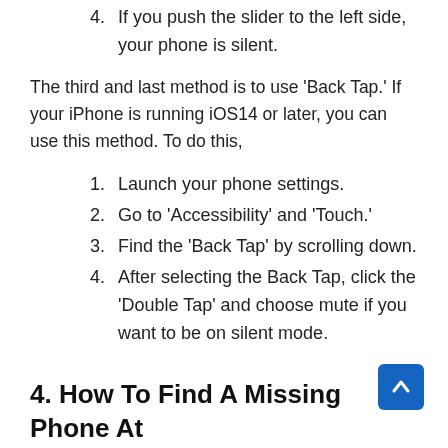4. If you push the slider to the left side, your phone is silent.
The third and last method is to use ‘Back Tap.’ If your iPhone is running iOS14 or later, you can use this method. To do this,
1. Launch your phone settings.
2. Go to ‘Accessibility’ and ‘Touch.’
3. Find the ‘Back Tap’ by scrolling down.
4. After selecting the Back Tap, click the ‘Double Tap’ and choose mute if you want to be on silent mode.
4. How To Find A Missing Phone At